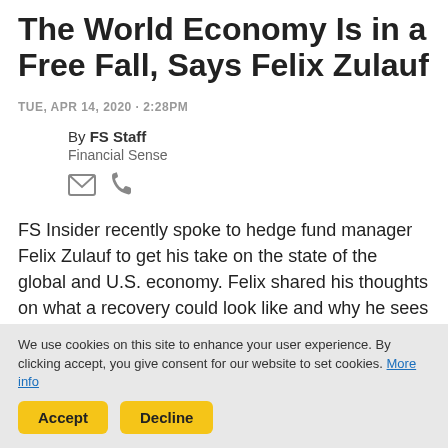The World Economy Is in a Free Fall, Says Felix Zulauf
TUE, APR 14, 2020 · 2:28PM
By FS Staff
Financial Sense
FS Insider recently spoke to hedge fund manager Felix Zulauf to get his take on the state of the global and U.S. economy. Felix shared his thoughts on what a recovery could look like and why he sees this as a long-term issue. Read below for excerpts from his interview
We use cookies on this site to enhance your user experience. By clicking accept, you give consent for our website to set cookies. More info